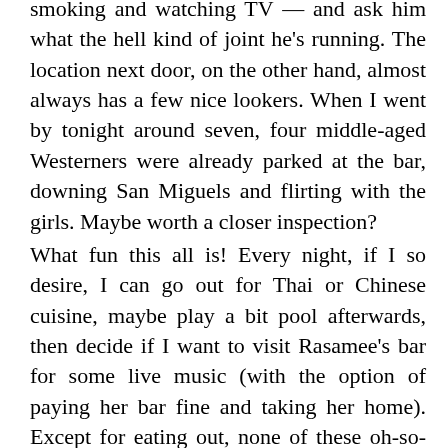smoking and watching TV — and ask him what the hell kind of joint he's running. The location next door, on the other hand, almost always has a few nice lookers. When I went by tonight around seven, four middle-aged Westerners were already parked at the bar, downing San Miguels and flirting with the girls. Maybe worth a closer inspection?
What fun this all is! Every night, if I so desire, I can go out for Thai or Chinese cuisine, maybe play a bit pool afterwards, then decide if I want to visit Rasamee's bar for some live music (with the option of paying her bar fine and taking her home). Except for eating out, none of these oh-so-agreeable activities were ever a part of my life back in Seattle. And the good times are in some